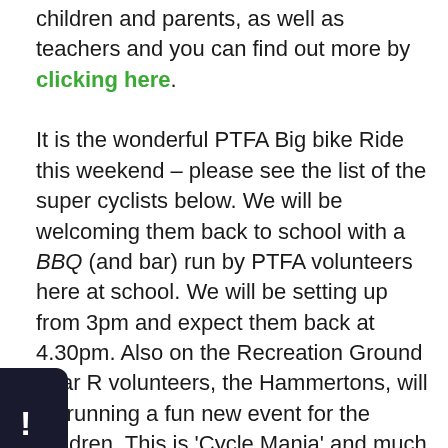children and parents, as well as teachers and you can find out more by clicking here.

It is the wonderful PTFA Big bike Ride this weekend – please see the list of the super cyclists below. We will be welcoming them back to school with a BBQ (and bar) run by PTFA volunteers here at school. We will be setting up from 3pm and expect them back at 4.30pm. Also on the Recreation Ground Year R volunteers, the Hammertons, will be running a fun new event for the children. This is ‘Cycle Mania’ and much more information is available by clicking here. For both activities we are still short of volunteers so if you can help we would really appreciate it – sign up by clicking here or